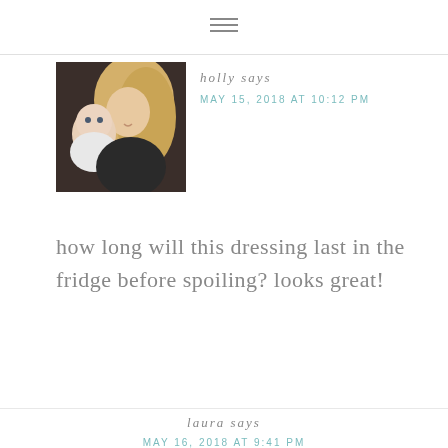[Figure (other): Hamburger menu icon (three horizontal lines) centered at top of page]
[Figure (photo): Photo of a woman with blonde hair and a baby, sitting on a dark leather couch]
holly says
MAY 15, 2018 AT 10:12 PM
how long will this dressing last in the fridge before spoiling? looks great!
Reply
laura says
MAY 16, 2018 AT 9:41 PM